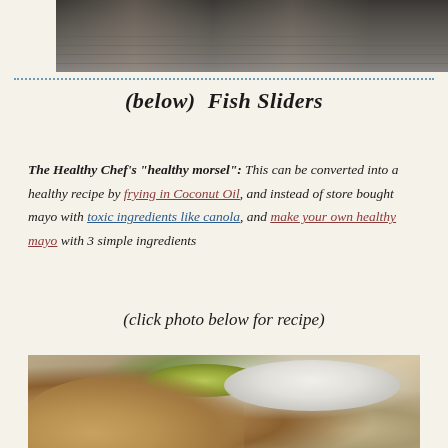[Figure (photo): Top portion of a kitchen stove or grill with metal grates and drawers, dark gray metallic surfaces]
(below)  Fish Sliders
The Healthy Chef's "healthy morsel": This can be converted into a healthy recipe by frying in Coconut Oil, and instead of store bought mayo with toxic ingredients like canola, and make your own healthy mayo with 3 simple ingredients
(click photo below for recipe)
[Figure (photo): Close-up photo of fish sliders with a lime, a white bowl of sauce, buns, and garnish on a wooden surface]